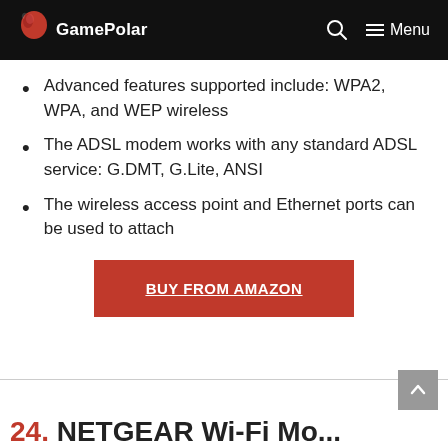GamePolar
Advanced features supported include: WPA2, WPA, and WEP wireless
The ADSL modem works with any standard ADSL service: G.DMT, G.Lite, ANSI
The wireless access point and Ethernet ports can be used to attach
BUY FROM AMAZON
24. NETGEAR Wi-Fi Mo...